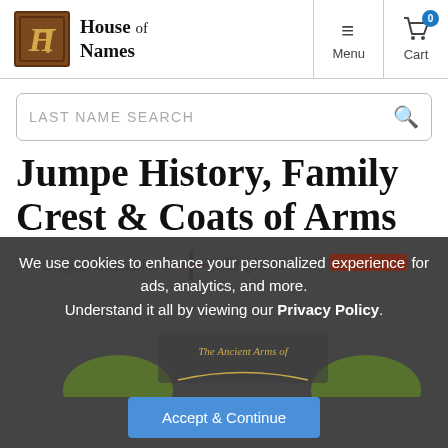[Figure (logo): House of Names logo: brown square with ornate H letter in gold, next to gothic text 'House of Names']
Menu
Cart 0
LAST NAME SEARCH
Jumpe History, Family Crest & Coats of Arms
Origins Available: England
We use cookies to enhance your personalized experience for ads, analytics, and more. Understand it all by viewing our Privacy Policy.
[Figure (illustration): Partial view of an ancient coat of arms illustration with text 'The Ancient Arms of']
Accept & Continue